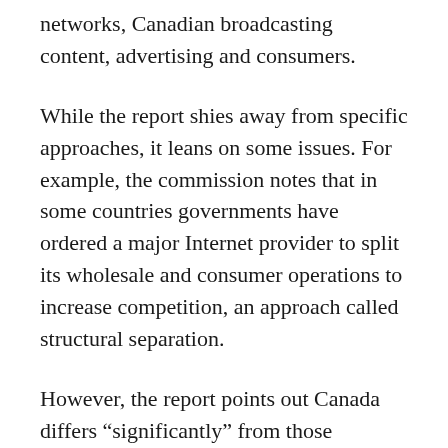networks, Canadian broadcasting content, advertising and consumers.
While the report shies away from specific approaches, it leans on some issues. For example, the commission notes that in some countries governments have ordered a major Internet provider to split its wholesale and consumer operations to increase competition, an approach called structural separation.
However, the report points out Canada differs “significantly” from those countries by having both incumbent cable and phone providers across much of the country. Wireless offers the potential to become a third option for phone and Internet services, it adds. That section was criticized by Iain Grant, managing